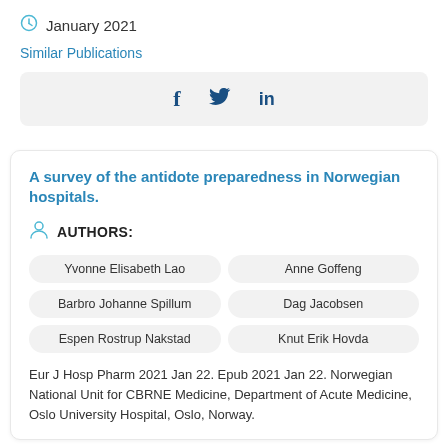January 2021
Similar Publications
[Figure (other): Social sharing icons: Facebook (f), Twitter (bird), LinkedIn (in)]
A survey of the antidote preparedness in Norwegian hospitals.
AUTHORS:
Yvonne Elisabeth Lao
Anne Goffeng
Barbro Johanne Spillum
Dag Jacobsen
Espen Rostrup Nakstad
Knut Erik Hovda
Eur J Hosp Pharm 2021 Jan 22. Epub 2021 Jan 22. Norwegian National Unit for CBRNE Medicine, Department of Acute Medicine, Oslo University Hospital, Oslo, Norway.